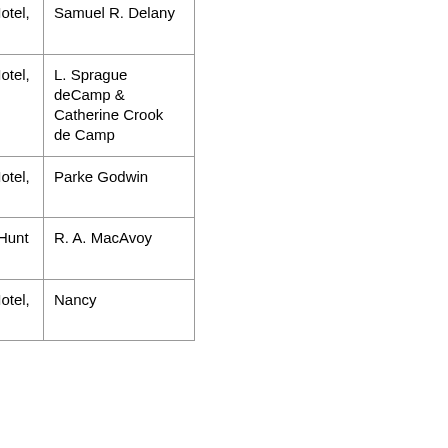| Name | Dates | Location | Guest of Honor |
| --- | --- | --- | --- |
| Balticon 16 | April 9–11, 1982 | Hyatt Regency Hotel, Baltimore, MD | Samuel R. Delany |
| Balticon 17 | April 1–3, 1983 | Hyatt Regency Hotel, Baltimore, MD | L. Sprague deCamp & Catherine Crook de Camp |
| Balticon 18 | April 20–22, 1984 | Hyatt Regency Hotel, Baltimore, MD | Parke Godwin |
| Balticon 19 | Easter Weekend April 7–9, 1985 | Hunt Valley Inn, Hunt Valley, MD | R. A. MacAvoy |
| Balticon 20 | March 28–30, 1986 | Hyatt Regency Hotel, | Nancy ... |